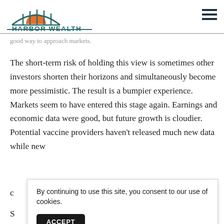HARBOR WEALTH
good way to approach markets.
The short-term risk of holding this view is sometimes other investors shorten their horizons and simultaneously become more pessimistic. The result is a bumpier experience. Markets seem to have entered this stage again. Earnings and economic data were good, but future growth is cloudier. Potential vaccine providers haven't released much new data while new c…
By continuing to use this site, you consent to our use of cookies.
ACCEPT
S